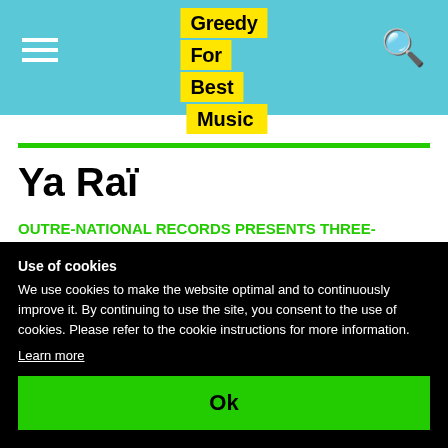Greedy For Best Music
Ya Raï
OUTRE-NATIONAL RECORDS PRESENTS THREE-VOLUME COMPILATION OF RARE TRACKS BY ALGERIAN LEGEND CHEB HASNI
Use of cookies
We use cookies to make the website optimal and to continuously improve it. By continuing to use the site, you consent to the use of cookies. Please refer to the cookie instructions for more information.
Learn more
Ok